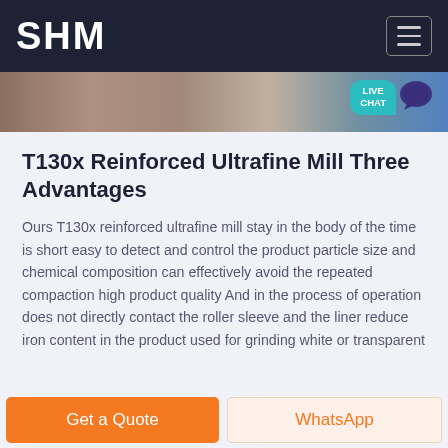SHM
[Figure (photo): A horizontal strip showing industrial machinery/factory interior images]
T130x Reinforced Ultrafine Mill Three Advantages
Ours T130x reinforced ultrafine mill stay in the body of the time is short easy to detect and control the product particle size and chemical composition can effectively avoid the repeated compaction high product quality And in the process of operation does not directly contact the roller sleeve and the liner reduce iron content in the product used for grinding white or transparent